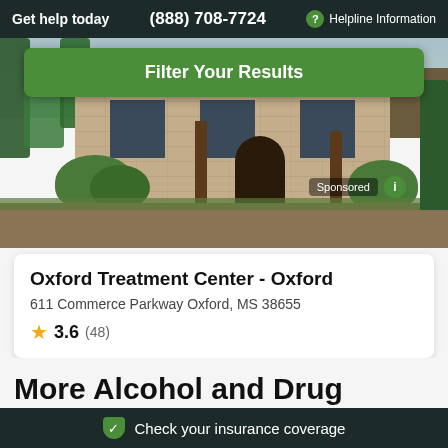Get help today  (888) 708-7724  ? Helpline Information
[Figure (photo): Exterior photo of a treatment center building with stone facade, decorative timber framing, landscaped bushes and trees, green foliage.]
Filter Your Results
Sponsored i
Oxford Treatment Center - Oxford
611 Commerce Parkway Oxford, MS 38655
★ 3.6 (48)
More Alcohol and Drug Rehab and Recovery Centers within 100 miles of
Check your insurance coverage